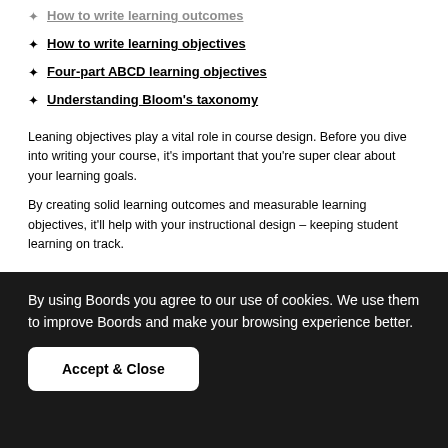How to write learning outcomes
How to write learning objectives
Four-part ABCD learning objectives
Understanding Bloom's taxonomy
Leaning objectives play a vital role in course design. Before you dive into writing your course, it's important that you're super clear about your learning goals.
By creating solid learning outcomes and measurable learning objectives, it'll help with your instructional design – keeping student learning on track.
By using Boords you agree to our use of cookies. We use them to improve Boords and make your browsing experience better.
Accept & Close